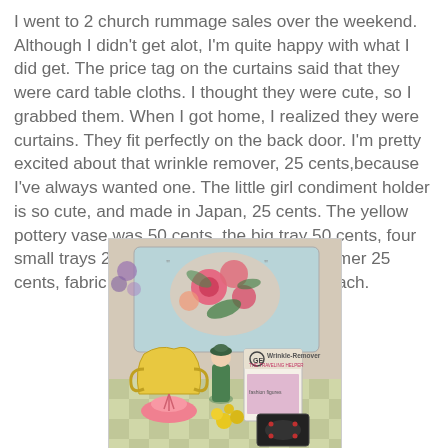I went to 2 church rummage sales over the weekend. Although I didn't get alot, I'm quite happy with what I did get. The price tag on the curtains said that they were card table cloths. I thought they were cute, so I grabbed them. When I got home, I realized they were curtains. They fit perfectly on the back door. I'm pretty excited about that wrinkle remover, 25 cents,because I've always wanted one. The little girl condiment holder is so cute, and made in Japan, 25 cents. The yellow pottery vase was 50 cents, the big tray 50 cents, four small trays 25 cents for all, pink plastic reamer 25 cents, fabric and plastic flowers 25 cents each.
[Figure (photo): Photo of rummage sale finds: a large floral decorative tray, a yellow pottery vase, a small girl figurine/condiment holder in green, a GE Wrinkle-Remover box, a pink plastic reamer, yellow flowers, and a small black decorative tray, arranged on a checkered tablecloth.]